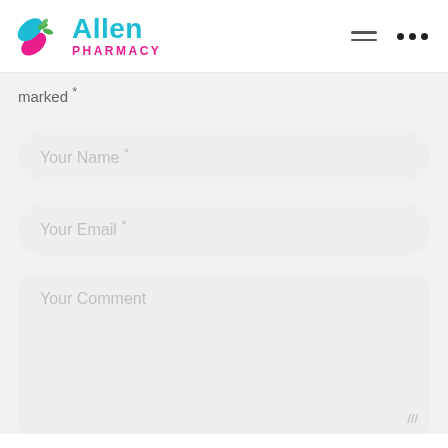[Figure (logo): Allen Pharmacy logo with capsule pill icon in teal and pink, leaves, and text 'Allen PHARMACY']
marked *
Your Name *
Your Email *
Your Comment